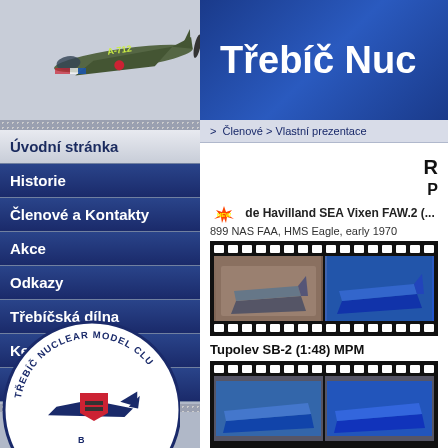[Figure (screenshot): Website screenshot of Trebic Nuclear Model Club page with navigation menu and aircraft model entries]
Třebíč Nuc
> Členové > Vlastní prezentace
R
P
NEW de Havilland SEA Vixen FAW.2 (...) 899 NAS FAA, HMS Eagle, early 1970
[Figure (photo): Filmstrip showing model aircraft photos - de Havilland Sea Vixen]
Tupolev SB-2 (1:48) MPM
[Figure (photo): Filmstrip showing Tupolev SB-2 model photos]
Úvodní stránka
Historie
Členové a Kontakty
Akce
Odkazy
Třebíčská dílna
Ke stažení
Walkaround
[Figure (logo): Trebic Nuclear Model Club circular logo with aircraft silhouette and red shield]